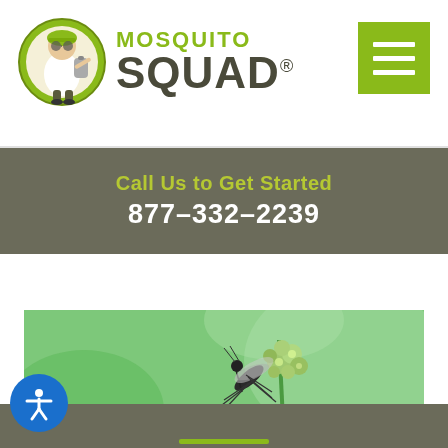[Figure (logo): Mosquito Squad logo with illustrated exterminator character in green circle, text reading MOSQUITO SQUAD with registered trademark symbol]
[Figure (other): Green hamburger menu button with three white horizontal lines]
Call Us to Get Started
877-332-2239
[Figure (photo): Close-up macro photograph of a mosquito perched on a green plant with small flower buds, green background]
[Figure (other): Bottom dark grey section with olive/yellow green horizontal line accent and blue circular accessibility icon with person symbol]